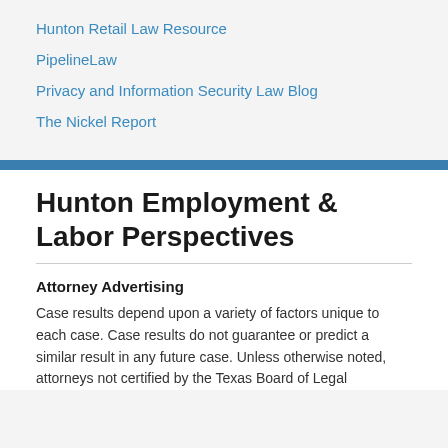Hunton Retail Law Resource
PipelineLaw
Privacy and Information Security Law Blog
The Nickel Report
Hunton Employment & Labor Perspectives
Attorney Advertising
Case results depend upon a variety of factors unique to each case. Case results do not guarantee or predict a similar result in any future case. Unless otherwise noted, attorneys not certified by the Texas Board of Legal